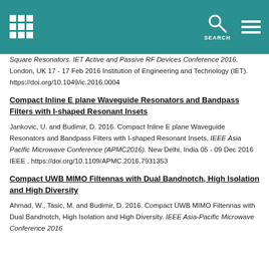SEARCH
Square Resonators. IET Active and Passive RF Devices Conference 2016. London, UK 17 - 17 Feb 2016 Institution of Engineering and Technology (IET). https://doi.org/10.1049/ic.2016.0004
Compact Inline E plane Waveguide Resonators and Bandpass Filters with I-shaped Resonant Insets
Jankovic, U. and Budimir, D. 2016. Compact Inline E plane Waveguide Resonators and Bandpass Filters with I-shaped Resonant Insets. IEEE Asia Pacific Microwave Conference (APMC2016). New Delhi, India 05 - 09 Dec 2016 IEEE . https://doi.org/10.1109/APMC.2016.7931353
Compact UWB MIMO Filtennas with Dual Bandnotch, High Isolation and High Diversity
Ahmad, W., Tasic, M. and Budimir, D. 2016. Compact UWB MIMO Filtennas with Dual Bandnotch, High Isolation and High Diversity. IEEE Asia-Pacific Microwave Conference 2016